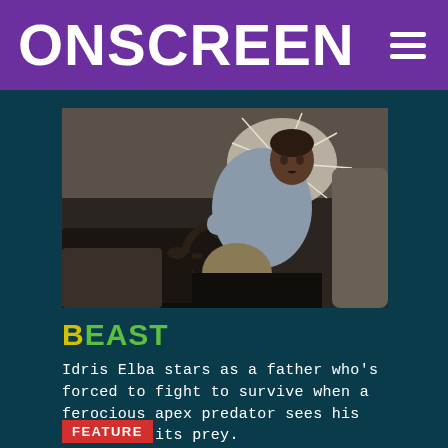ONSCREEN
[Figure (photo): Man sitting in driver's seat of a vehicle with shattered windshield, looking alarmed, dramatic lighting]
BEAST
Idris Elba stars as a father who's forced to fight to survive when a ferocious apex predator sees his family as its prey.
FEATURE